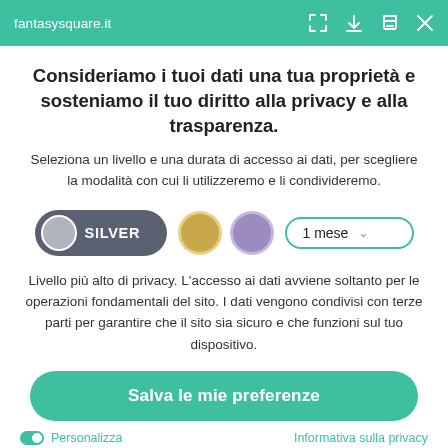fantasysquare.it
Consideriamo i tuoi dati una tua proprietà e sosteniamo il tuo diritto alla privacy e alla trasparenza.
Seleziona un livello e una durata di accesso ai dati, per scegliere la modalità con cui li utilizzeremo e li condivideremo.
[Figure (other): Privacy level selector with Silver toggle active, gold circle, purple circle, and 1 mese dropdown]
Livello più alto di privacy. L'accesso ai dati avviene soltanto per le operazioni fondamentali del sito. I dati vengono condivisi con terze parti per garantire che il sito sia sicuro e che funzioni sul tuo dispositivo.
Salva le mie preferenze
Personalizza
Informativa sulla privacy